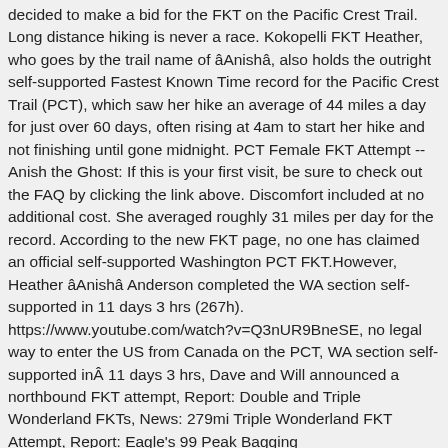decided to make a bid for the FKT on the Pacific Crest Trail. Long distance hiking is never a race. Kokopelli FKT Heather, who goes by the trail name of âAnishâ, also holds the outright self-supported Fastest Known Time record for the Pacific Crest Trail (PCT), which saw her hike an average of 44 miles a day for just over 60 days, often rising at 4am to start her hike and not finishing until gone midnight. PCT Female FKT Attempt -- Anish the Ghost: If this is your first visit, be sure to check out the FAQ by clicking the link above. Discomfort included at no additional cost. She averaged roughly 31 miles per day for the record. According to the new FKT page, no one has claimed an official self-supported Washington PCT FKT.However, Heather âAnishâ Anderson completed the WA section self-supported in 11 days 3 hrs (267h). https://www.youtube.com/watch?v=Q3nUR9BneSE, no legal way to enter the US from Canada on the PCT, WA section self-supported inÂ 11 days 3 hrs, Dave and Will announced a northbound FKT attempt, Report: Double and Triple Wonderland FKTs, News: 279mi Triple Wonderland FKT Attempt, Report: Eagle's 99 Peak Bagging